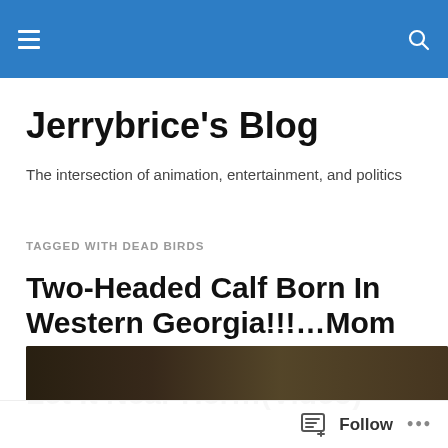Jerrybrice's Blog — navigation header bar
Jerrybrice's Blog
The intersection of animation, entertainment, and politics
TAGGED WITH DEAD BIRDS
Two-Headed Calf Born In Western Georgia!!!…Mom Cow Freaked Out And Won't Let It Near Her!!!(Video)
[Figure (screenshot): Dark video thumbnail at the bottom of the page]
Follow